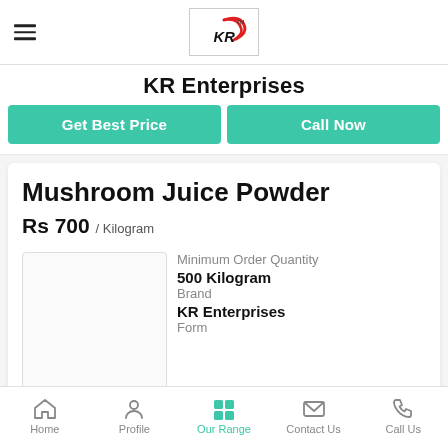[Figure (logo): KR Enterprises logo with stylized KR text and red swoosh, TM mark]
KR Enterprises
Get Best Price
Call Now
Mushroom Juice Powder
Rs 700 / Kilogram
Minimum Order Quantity
500 Kilogram
Brand
KR Enterprises
Form
Home  Profile  Our Range  Contact Us  Call Us